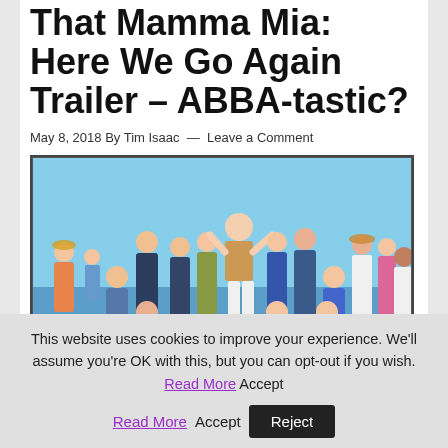That Mamma Mia: Here We Go Again Trailer – ABBA-tastic?
May 8, 2018 By Tim Isaac — Leave a Comment
[Figure (photo): Promotional cast photo for Mamma Mia: Here We Go Again, showing a large group of cast members posing together on a sunny outdoor set, some seated and some standing.]
This website uses cookies to improve your experience. We'll assume you're OK with this, but you can opt-out if you wish. Read More Accept Reject